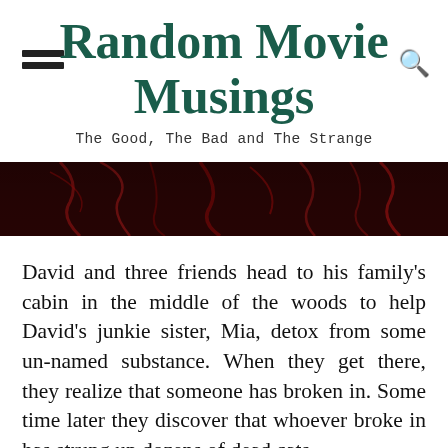Random Movie Musings
The Good, The Bad and The Strange
[Figure (photo): Dark horror movie banner image with red veiny tendrils on a dark background]
David and three friends head to his family's cabin in the middle of the woods to help David's junkie sister, Mia, detox from some un-named substance. When they get there, they realize that someone has broken in. Some time later they discover that whoever broke in has strung up dozens of dead cats